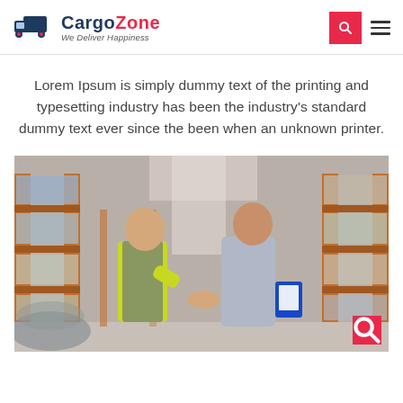CargoZone — We Deliver Happiness
Lorem Ipsum is simply dummy text of the printing and typesetting industry has been the industry's standard dummy text ever since the been when an unknown printer.
[Figure (photo): Two men shaking hands in a large warehouse with tall orange shelving racks filled with palletized goods. The man on the left wears a yellow hi-vis vest and plaid shirt; the man on the right wears a grey button-up shirt and holds a blue clipboard.]